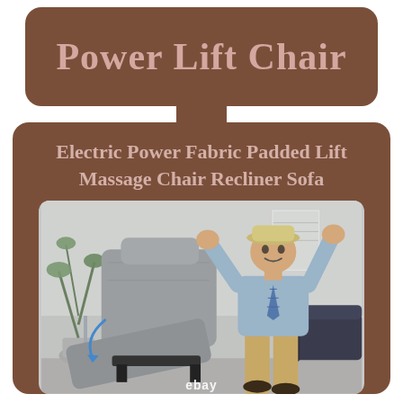Power Lift Chair
Electric Power Fabric Padded Lift Massage Chair Recliner Sofa
[Figure (photo): An elderly man wearing a hat and beige pants celebrating with arms raised next to a grey power lift recliner chair that has its seat extended outward. A blue arrow indicates the lifting mechanism. A plant is visible on the left, a dark sofa on the right, in a light grey interior room. An eBay watermark appears at the bottom.]